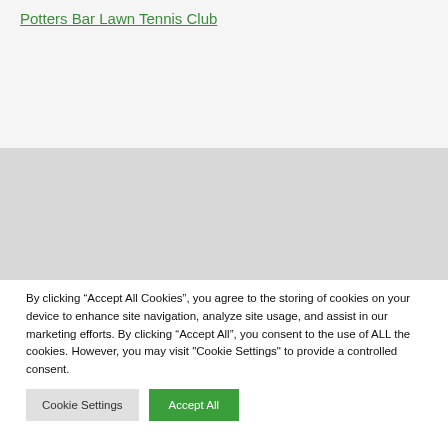Potters Bar Lawn Tennis Club
[Figure (logo): Crossed tennis rackets icon and My Tennis Life brand name with Facebook icon]
By clicking “Accept All Cookies”, you agree to the storing of cookies on your device to enhance site navigation, analyze site usage, and assist in our marketing efforts. By clicking “Accept All”, you consent to the use of ALL the cookies. However, you may visit "Cookie Settings" to provide a controlled consent.
Cookie Settings
Accept All